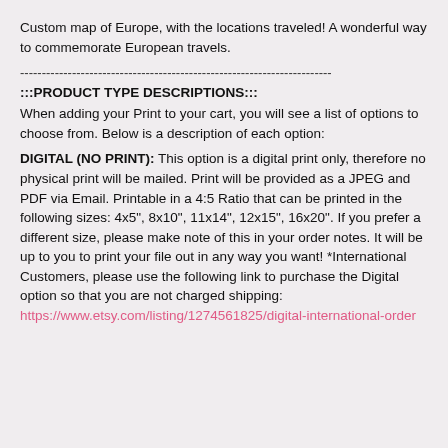Custom map of Europe, with the locations traveled! A wonderful way to commemorate European travels.
------------------------------------------------------------------------
:::PRODUCT TYPE DESCRIPTIONS:::
When adding your Print to your cart, you will see a list of options to choose from. Below is a description of each option:
DIGITAL (NO PRINT): This option is a digital print only, therefore no physical print will be mailed. Print will be provided as a JPEG and PDF via Email. Printable in a 4:5 Ratio that can be printed in the following sizes: 4x5", 8x10", 11x14", 12x15", 16x20". If you prefer a different size, please make note of this in your order notes. It will be up to you to print your file out in any way you want! *International Customers, please use the following link to purchase the Digital option so that you are not charged shipping:
https://www.etsy.com/listing/1274561825/digital-international-order